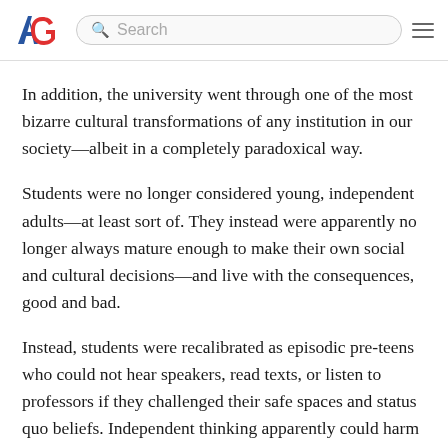AG [logo] Search [hamburger menu]
In addition, the university went through one of the most bizarre cultural transformations of any institution in our society—albeit in a completely paradoxical way.
Students were no longer considered young, independent adults—at least sort of. They instead were apparently no longer always mature enough to make their own social and cultural decisions—and live with the consequences, good and bad.
Instead, students were recalibrated as episodic pre-teens who could not hear speakers, read texts, or listen to professors if they challenged their safe spaces and status quo beliefs. Independent thinking apparently could harm such fragile souls and therefore had to be carefully